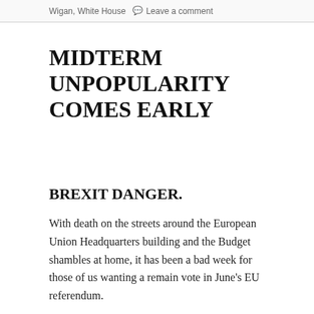Wigan, White House  Leave a comment
MIDTERM UNPOPULARITY COMES EARLY
BREXIT DANGER.
With death on the streets around the European Union Headquarters building and the Budget shambles at home, it has been a bad week for those of us wanting a remain vote in June's EU referendum.
The disgusting terrorist atrocities suggest Europe is